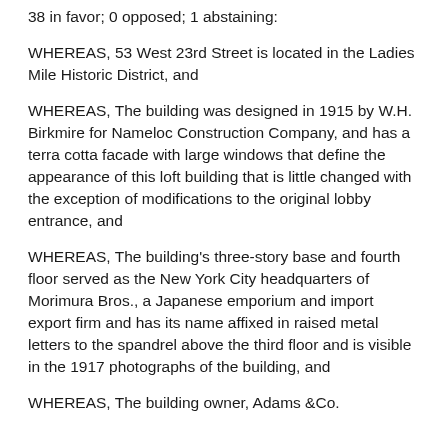38 in favor; 0 opposed; 1 abstaining:
WHEREAS, 53 West 23rd Street is located in the Ladies Mile Historic District, and
WHEREAS, The building was designed in 1915 by W.H. Birkmire for Nameloc Construction Company, and has a terra cotta facade with large windows that define the appearance of this loft building that is little changed with the exception of modifications to the original lobby entrance, and
WHEREAS, The building's three-story base and fourth floor served as the New York City headquarters of Morimura Bros., a Japanese emporium and import export firm and has its name affixed in raised metal letters to the spandrel above the third floor and is visible in the 1917 photographs of the building, and
WHEREAS, The building owner, Adams &Co.